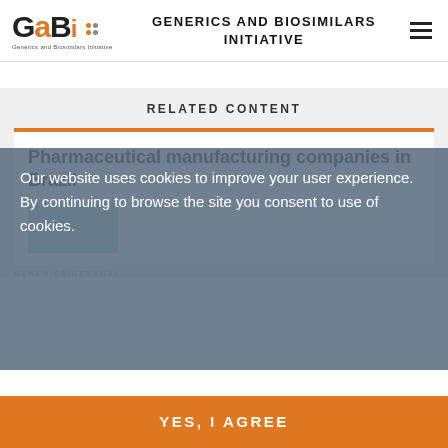GENERICS AND BIOSIMILARS INITIATIVE
RELATED CONTENT
Pharmaceutical manufacturing companies in Brazil
Our website uses cookies to improve your user experience. By continuing to browse the site you consent to use of cookies.
GENERICS/GENERAL
YES, I AGREE